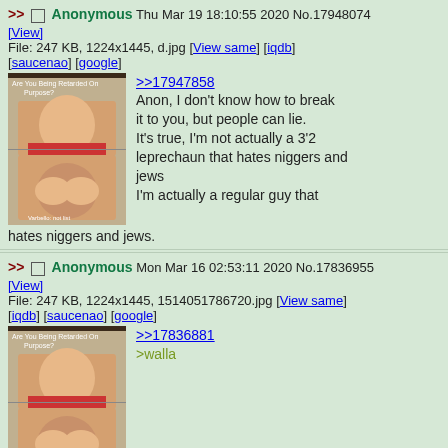>> Anonymous Thu Mar 19 18:10:55 2020 No.17948074 [View] File: 247 KB, 1224x1445, d.jpg [View same] [iqdb] [saucenao] [google]
[Figure (illustration): Animated meme image with text 'Are You Being Retarded On Purpose?' showing two panels of an animated character.]
>>17947858 Anon, I don't know how to break it to you, but people can lie. It's true, I'm not actually a 3'2 leprechaun that hates niggers and jews I'm actually a regular guy that hates niggers and jews.
>> Anonymous Mon Mar 16 02:53:11 2020 No.17836955 [View] File: 247 KB, 1224x1445, 1514051786720.jpg [View same] [iqdb] [saucenao] [google]
[Figure (illustration): Same animated meme image showing two panels of an animated character.]
>>17836881 >walla